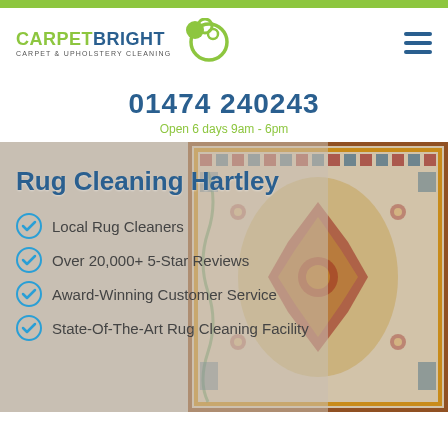[Figure (logo): CarpetBright Carpet & Upholstery Cleaning logo with green bubble icons and blue/green text]
01474 240243
Open 6 days 9am - 6pm
[Figure (photo): Background photo of a decorative Persian/Oriental rug with red, blue, cream patterns, partially visible on the right side, with a beige overlay on the left]
Rug Cleaning Hartley
Local Rug Cleaners
Over 20,000+ 5-Star Reviews
Award-Winning Customer Service
State-Of-The-Art Rug Cleaning Facility